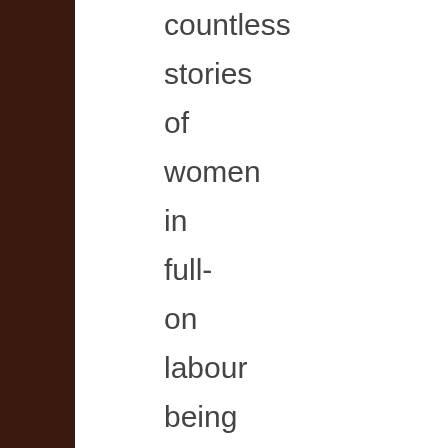countless stories of women in full- on labour being turned away because there just aren't enough midwives to cope and being sent